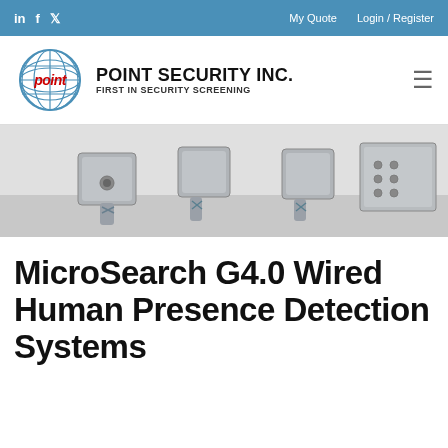in  f  🐦   My Quote   Login / Register
[Figure (logo): Point Security Inc. logo with globe graphic and red italic 'POINT' text, tagline 'FIRST IN SECURITY SCREENING']
[Figure (photo): Product photo showing several gray metal junction box sensors/detectors with screw terminals and cable connectors on a white background]
MicroSearch G4.0 Wired Human Presence Detection Systems